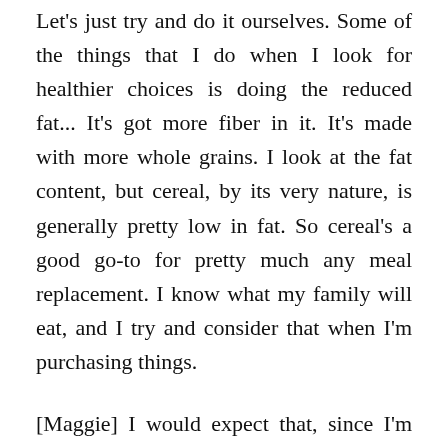Let's just try and do it ourselves. Some of the things that I do when I look for healthier choices is doing the reduced fat... It's got more fiber in it. It's made with more whole grains. I look at the fat content, but cereal, by its very nature, is generally pretty low in fat. So cereal's a good go-to for pretty much any meal replacement. I know what my family will eat, and I try and consider that when I'm purchasing things.
[Maggie] I would expect that, since I'm eating healthy and exercising a lot, that I would be able to lose more weight than I am. But my weight has mostly stayed the same. So, sometimes it gets a little bit frustrating.
[Man] This whole generation of kids, they're doing